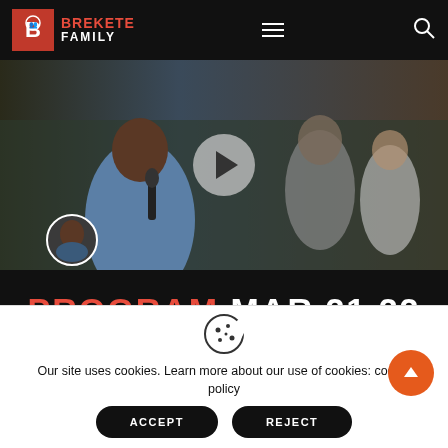Brekete Family
[Figure (screenshot): Video thumbnail showing a man in blue shirt speaking into a microphone at a gathering, with a play button overlay]
PROGRAM MAR 21 22
PROGRAMS
VIDEOS
Our site uses cookies. Learn more about our use of cookies: cookie policy
ACCEPT
REJECT